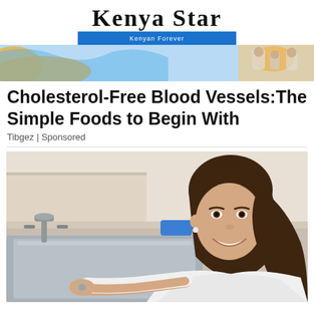Kenya Star — Kenyan Forever
[Figure (illustration): Kenya Star newspaper logo with blackletter font and blue tagline bar reading 'Kenyan Forever', plus a decorative illustrated banner with abstract/cartoon shapes in blue and orange]
Cholesterol-Free Blood Vessels: The Simple Foods to Begin With
Tibgez | Sponsored
[Figure (photo): A smiling brunette woman in a white long-sleeve top leaning over a kitchen sink, looking back at the camera. Behind her is a blue sponge and a green bottle of dish soap on the counter.]